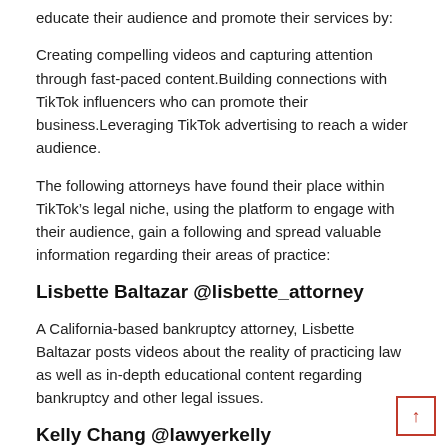educate their audience and promote their services by:
Creating compelling videos and capturing attention through fast-paced content.Building connections with TikTok influencers who can promote their business.Leveraging TikTok advertising to reach a wider audience.
The following attorneys have found their place within TikTok’s legal niche, using the platform to engage with their audience, gain a following and spread valuable information regarding their areas of practice:
Lisbette Baltazar @lisbette_attorney
A California-based bankruptcy attorney, Lisbette Baltazar posts videos about the reality of practicing law as well as in-depth educational content regarding bankruptcy and other legal issues.
Kelly Chang @lawyerkelly